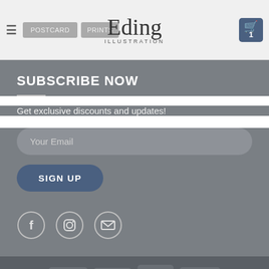Eding ILLUSTRATION — navigation header with cart
SUBSCRIBE NOW
Get exclusive discounts and updates!
Your Email — email input field
SIGN UP
[Figure (infographic): Social media icons: Facebook (f), Instagram (camera), Email (envelope) — circular outline icons]
VISA stripe MasterCard AMERICAN EXPRESS — payment icons; Copyright 2023 @ Eding Illustration